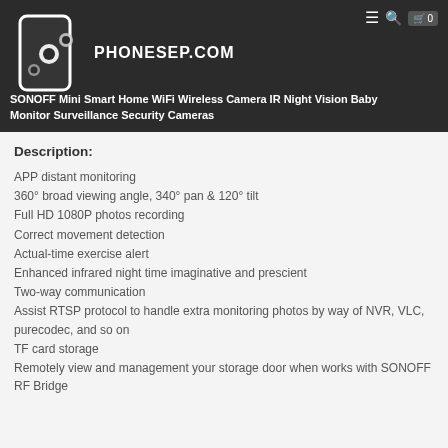PHONESEP.COM
SONOFF Mini Smart Home WiFi Wireless Camera IR Night Vision Baby Monitor Surveillance Security Cameras
Description:
APP distant monitoring
360° broad viewing angle, 340° pan & 120° tilt
Full HD 1080P photos recording
Correct movement detection
Actual-time exercise alert
Enhanced infrared night time imaginative and prescient
Two-way communication
Assist RTSP protocol to handle extra monitoring photos by way of NVR, VLC, purecodec, and so on
TF card storage
Remotely view and management your storage door when works with SONOFF RF Bridge